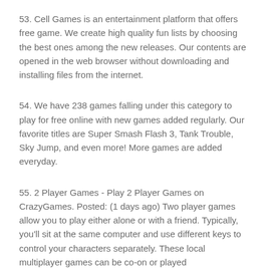53. Cell Games is an entertainment platform that offers free game. We create high quality fun lists by choosing the best ones among the new releases. Our contents are opened in the web browser without downloading and installing files from the internet.
54. We have 238 games falling under this category to play for free online with new games added regularly. Our favorite titles are Super Smash Flash 3, Tank Trouble, Sky Jump, and even more! More games are added everyday.
55. 2 Player Games - Play 2 Player Games on CrazyGames. Posted: (1 days ago) Two player games allow you to play either alone or with a friend. Typically, you'll sit at the same computer and use different keys to control your characters separately. These local multiplayer games can be co-on or played